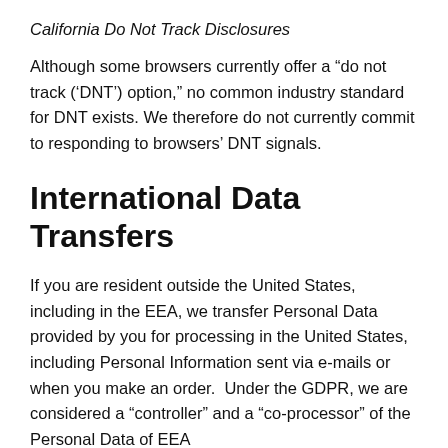California Do Not Track Disclosures
Although some browsers currently offer a “do not track (‘DNT’) option,” no common industry standard for DNT exists. We therefore do not currently commit to responding to browsers’ DNT signals.
International Data Transfers
If you are resident outside the United States, including in the EEA, we transfer Personal Data provided by you for processing in the United States, including Personal Information sent via e-mails or when you make an order.  Under the GDPR, we are considered a “controller” and a “co-processor” of the Personal Data of EEA